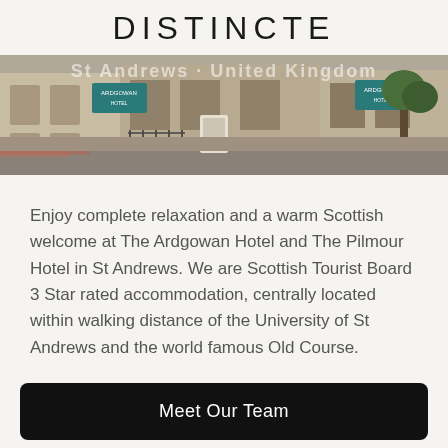DISTINCTE
[Figure (photo): Street scene in St Andrews, United Kingdom, showing the Ardgowan Hotel and Pilmour Hotel signage along a town street with stone buildings, parked cars with motion blur, and teal hotel signs visible.]
Enjoy complete relaxation and a warm Scottish welcome at The Ardgowan Hotel and The Pilmour Hotel in St Andrews. We are Scottish Tourist Board 3 Star rated accommodation, centrally located within walking distance of the University of St Andrews and the world famous Old Course.
Meet Our Team